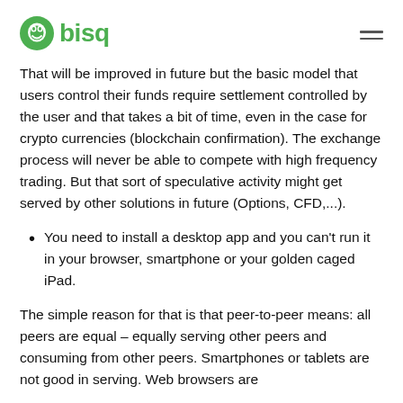bisq
That will be improved in future but the basic model that users control their funds require settlement controlled by the user and that takes a bit of time, even in the case for crypto currencies (blockchain confirmation). The exchange process will never be able to compete with high frequency trading. But that sort of speculative activity might get served by other solutions in future (Options, CFD,...).
You need to install a desktop app and you can't run it in your browser, smartphone or your golden caged iPad.
The simple reason for that is that peer-to-peer means: all peers are equal – equally serving other peers and consuming from other peers. Smartphones or tablets are not good in serving. Web browsers are